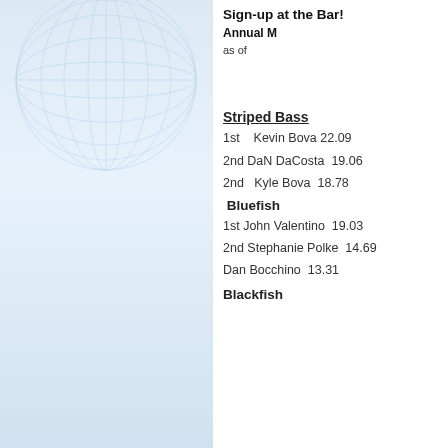[Figure (illustration): Left panel with light blue gradient background and faint globe/grid watermark illustration]
Sign-up at the Bar!
Annual M
as of
Striped Bass
1st    Kevin Bova 22.09
2nd DaN DaCosta  19.06
2nd   Kyle Bova  18.78
Bluefish
1st John Valentino  19.03
2nd Stephanie Polke  14.69
Dan Bocchino  13.31
Blackfish